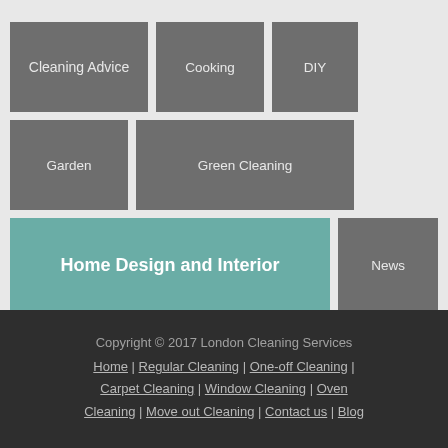Cleaning Advice
Cooking
DIY
Garden
Green Cleaning
Home Design and Interior
News
Other
Recipes
Copyright © 2017 London Cleaning Services
Home | Regular Cleaning | One-off Cleaning | Carpet Cleaning | Window Cleaning | Oven Cleaning | Move out Cleaning | Contact us | Blog